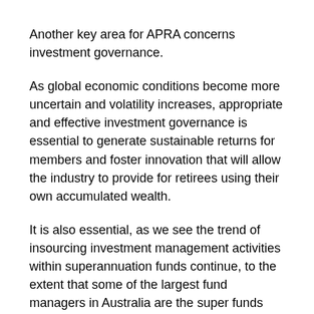Another key area for APRA concerns investment governance.
As global economic conditions become more uncertain and volatility increases, appropriate and effective investment governance is essential to generate sustainable returns for members and foster innovation that will allow the industry to provide for retirees using their own accumulated wealth.
It is also essential, as we see the trend of insourcing investment management activities within superannuation funds continue, to the extent that some of the largest fund managers in Australia are the super funds themselves.
Next month, we will be releasing a refreshed investment